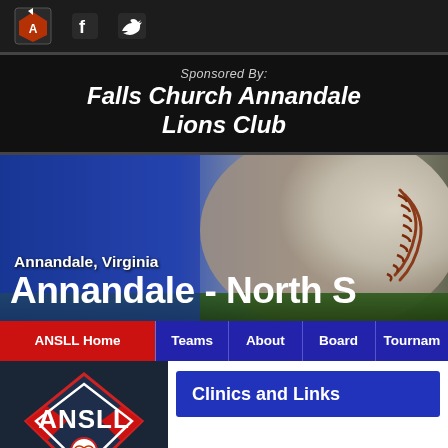ANSLL navigation bar with logo, Facebook, Twitter icons
Sponsored By: Falls Church Annandale Lions Club
[Figure (photo): Close-up of a baseball with red stitching on blue-lit background with grass at the bottom. Text overlay: 'Annandale, Virginia' and 'Annandale - North S']
ANSLL Home | Teams | About | Board | Tournam
[Figure (logo): ANSLL logo — white diamond shape on dark navy background with red chevrons and a baseball, text 'ANSLL']
Clinics and Links